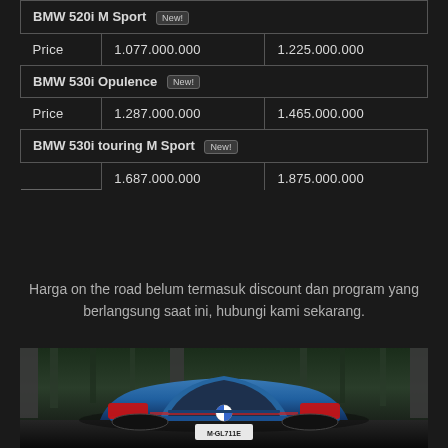| Model | Price (low) | Price (high) |
| --- | --- | --- |
| BMW 520i M Sport [New!] |  |  |
| Price | 1.077.000.000 | 1.225.000.000 |
| BMW 530i Opulence [New!] |  |  |
| Price | 1.287.000.000 | 1.465.000.000 |
| BMW 530i touring M Sport [New!] |  |  |
|  | 1.687.000.000 | 1.875.000.000 |
Harga on the road belum termasuk discount dan program yang berlangsung saat ini, hubungi kami sekarang.
[Figure (photo): Rear view of a blue BMW sedan (plate M·GL711E) parked outdoors with trees and columns in background]